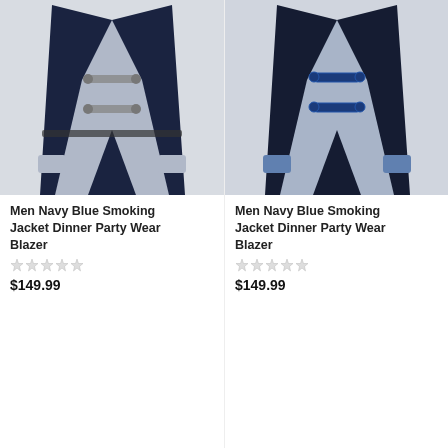[Figure (photo): Men Navy Blue Smoking Jacket with silver double-breasted buttons and patterned lapels/cuffs - left product]
Men Navy Blue Smoking Jacket Dinner Party Wear Blazer
$149.99
[Figure (photo): Men Navy Blue Smoking Jacket with navy blue double-breasted buttons and patterned lapels - right product]
Men Navy Blue Smoking Jacket Dinner Party Wear Blazer
$149.99
[Figure (photo): Dark smoking jacket with bow tie on mannequin - bottom left]
[Figure (photo): Navy blue suit jacket - bottom right, partially visible]
Chat with us